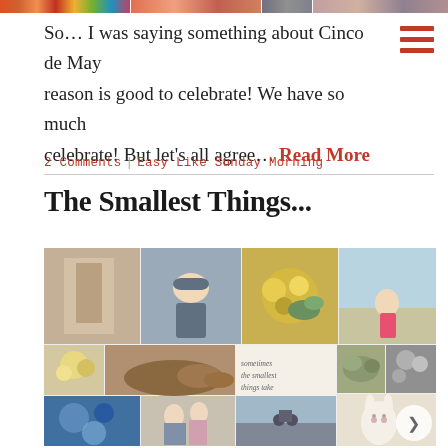[Figure (photo): Top strip of small colorful photo thumbnails across the top of the page]
So… I was saying something about Cinco de May reason is good to celebrate! We have so much celebrate! But let's all agree… Read More
2 Comments | Easy Like Sunday Morning
The Smallest Things...
[Figure (photo): Collage of multiple small photographs including a woman in a long dress, a baby in a hat, yellow flowers, a girl at the beach, dogs, a quote card reading 'sometimes the smallest things take up the most room in your heart', succulents, stuffed animals, a cyclist, a bunny lamp, and other lifestyle photos]